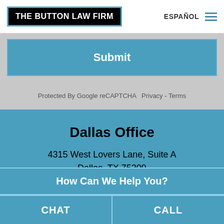[Figure (logo): The Button Law Firm logo — white text on black background with teal border]
ESPAÑOL
[Figure (other): Hamburger menu icon with three teal horizontal lines]
Submit
Protected By Google reCAPTCHA  Privacy - Terms
Dallas Office
4315 West Lovers Lane, Suite A
Dallas, TX 75209
How Can We Help You?
CHAT
CALL